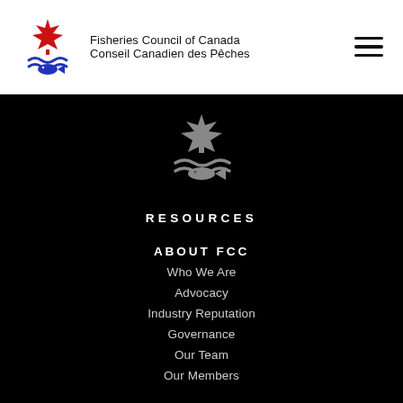[Figure (logo): Fisheries Council of Canada logo: red maple leaf with blue fish and wave lines below]
Fisheries Council of Canada
Conseil Canadien des Pêches
[Figure (logo): Fisheries Council of Canada grey icon logo centered on black background]
RESOURCES
ABOUT FCC
Who We Are
Advocacy
Industry Reputation
Governance
Our Team
Our Members